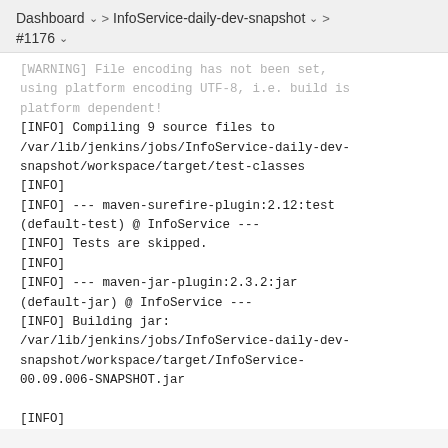Dashboard > InfoService-daily-dev-snapshot > > #1176
[WARNING] File encoding has not been set, using platform encoding UTF-8, i.e. build is platform dependent!
[INFO] Compiling 9 source files to /var/lib/jenkins/jobs/InfoService-daily-dev-snapshot/workspace/target/test-classes
[INFO]
[INFO] --- maven-surefire-plugin:2.12:test (default-test) @ InfoService ---
[INFO] Tests are skipped.
[INFO]
[INFO] --- maven-jar-plugin:2.3.2:jar (default-jar) @ InfoService ---
[INFO] Building jar:
/var/lib/jenkins/jobs/InfoService-daily-dev-snapshot/workspace/target/InfoService-00.09.006-SNAPSHOT.jar
[INFO]